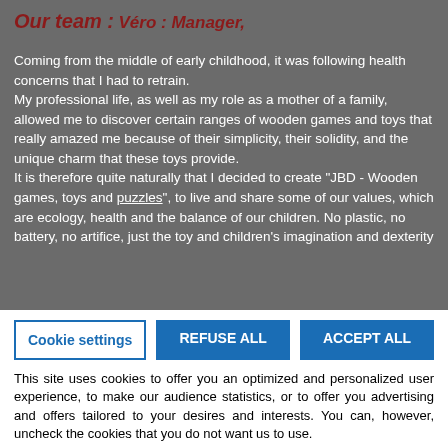Our team :
Véro : Manager,
Coming from the middle of early childhood, it was following health concerns that I had to retrain.
My professional life, as well as my role as a mother of a family, allowed me to discover certain ranges of wooden games and toys that really amazed me because of their simplicity, their solidity, and the unique charm that these toys provide.
It is therefore quite naturally that I decided to create "JBD - Wooden games, toys and puzzles", to live and share some of our values, which are ecology, health and the balance of our children. No plastic, no battery, no artifice, just the toy and children's imagination and dexterity
Cookie settings   REFUSE ALL   ACCEPT ALL
This site uses cookies to offer you an optimized and personalized user experience, to make our audience statistics, or to offer you advertising and offers tailored to your desires and interests. You can, however, uncheck the cookies that you do not want us to use.